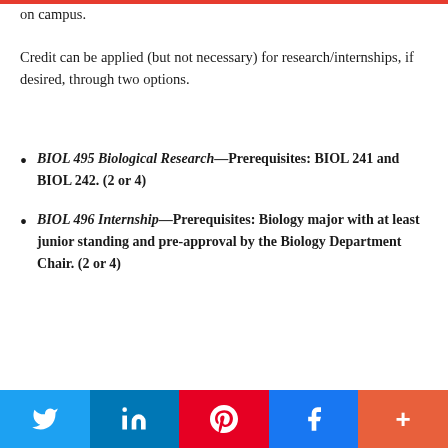on campus.
Credit can be applied (but not necessary) for research/internships, if desired, through two options.
BIOL 495 Biological Research—Prerequisites: BIOL 241 and BIOL 242. (2 or 4)
BIOL 496 Internship—Prerequisites: Biology major with at least junior standing and pre-approval by the Biology Department Chair. (2 or 4)
Twitter LinkedIn Pinterest Facebook More